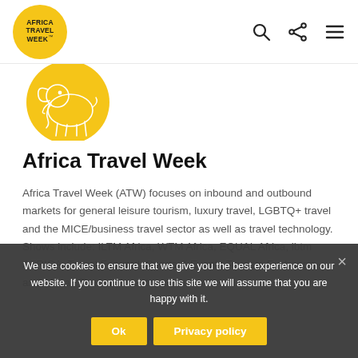Africa Travel Week
[Figure (logo): Africa Travel Week circular logo with golden background, stylized line drawing of elephant, text AFRICA TRAVEL WEEK]
Africa Travel Week
Africa Travel Week (ATW) focuses on inbound and outbound markets for general leisure tourism, luxury travel, LGBTQ+ travel and the MICE/business travel sector as well as travel technology. Shows include: ILTM Africa, WTM Africa, EQUAL Africa, ibtm AFRICA, Travel Forward, Sports & Events Tourism Exchange and African Tourism Investment Summit.
We use cookies to ensure that we give you the best experience on our website. If you continue to use this site we will assume that you are happy with it.